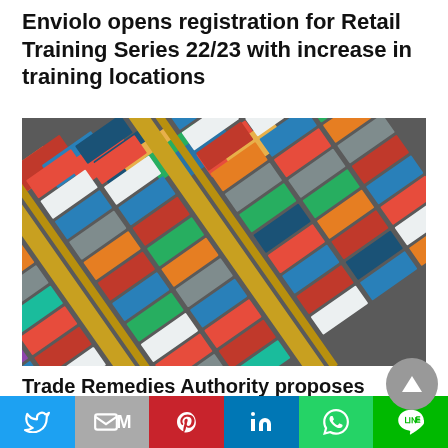Enviolo opens registration for Retail Training Series 22/23 with increase in training locations
[Figure (photo): Aerial view of colorful shipping containers at a port/freight terminal, with yellow cranes visible]
Trade Remedies Authority proposes new tariff rates for two Chinese e-bike
[Figure (other): Social media sharing bar with Twitter, Mail, Pinterest, LinkedIn, WhatsApp, and LINE buttons]